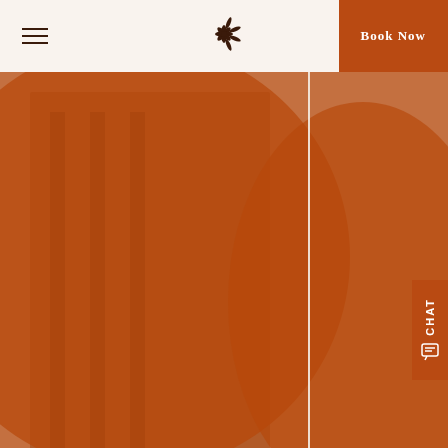Book Now
[Figure (photo): Hotel interior room with warm orange-brown tinted overlay, showing furniture, columns and bathtub through a circular crop shape divided by a vertical line]
Experience the Traditions of this Timeless Destination
Just 15 minutes away from downtown Merida, Hacienda Xcanatun by Angsana is located in an enclave where history and tradition come together. Restored to its 18th century grandeur as one of the most iconic henequen